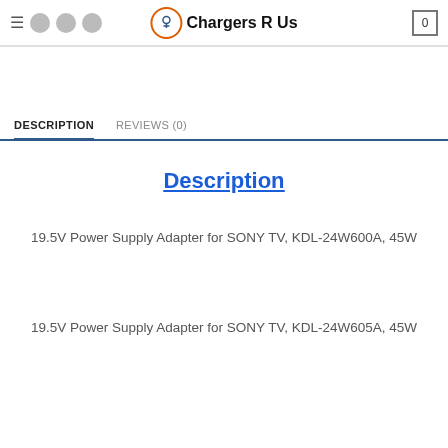Chargers R Us — navigation bar with logo, social icons, hamburger menu, cart
DESCRIPTION
REVIEWS (0)
Description
19.5V Power Supply Adapter for SONY TV, KDL-24W600A, 45W
19.5V Power Supply Adapter for SONY TV, KDL-24W605A, 45W